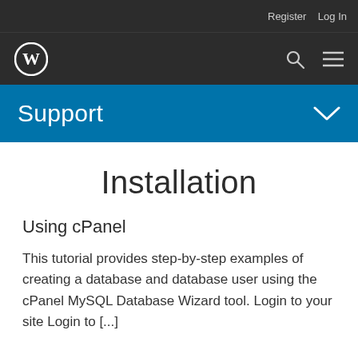Register   Log In
[Figure (logo): WordPress logo (W in a circle) in white on dark background, with search and hamburger menu icons]
Support
Installation
Using cPanel
This tutorial provides step-by-step examples of creating a database and database user using the cPanel MySQL Database Wizard tool. Login to your site Login to [...]